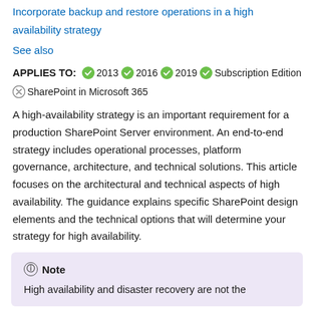Incorporate backup and restore operations in a high availability strategy
See also
APPLIES TO: ✓2013 ✓2016 ✓2019 ✓Subscription Edition ✗SharePoint in Microsoft 365
A high-availability strategy is an important requirement for a production SharePoint Server environment. An end-to-end strategy includes operational processes, platform governance, architecture, and technical solutions. This article focuses on the architectural and technical aspects of high availability. The guidance explains specific SharePoint design elements and the technical options that will determine your strategy for high availability.
Note
High availability and disaster recovery are not the